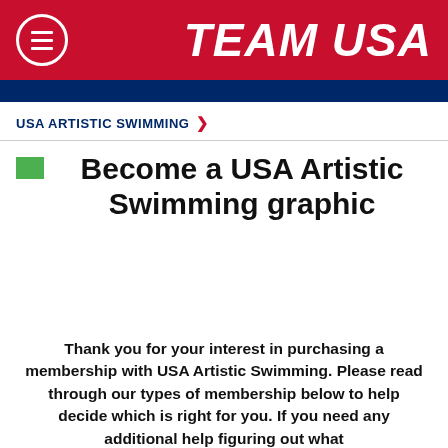TEAM USA
USA ARTISTIC SWIMMING >
Become a USA Artistic Swimming graphic
Thank you for your interest in purchasing a membership with USA Artistic Swimming. Please read through our types of membership below to help decide which is right for you. If you need any additional help figuring out what